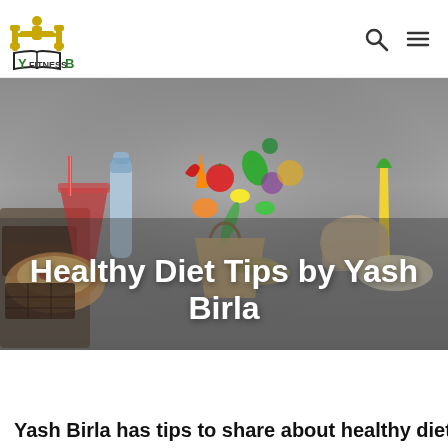YFitnessB — logo with search and menu icons
[Figure (photo): Hero image showing an assortment of healthy and unhealthy foods scattered across a grey gradient background: vegetables, fruits, water bottle, soft drink, chocolate, bread, grains, corn, with the title overlaid in white bold text.]
Healthy Diet Tips by Yash Birla
Yash Birla has tips to share about healthy diet...